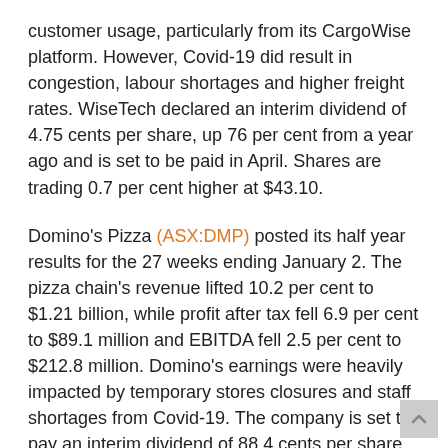customer usage, particularly from its CargoWise platform. However, Covid-19 did result in congestion, labour shortages and higher freight rates. WiseTech declared an interim dividend of 4.75 cents per share, up 76 per cent from a year ago and is set to be paid in April. Shares are trading 0.7 per cent higher at $43.10.
Domino's Pizza (ASX:DMP) posted its half year results for the 27 weeks ending January 2. The pizza chain's revenue lifted 10.2 per cent to $1.21 billion, while profit after tax fell 6.9 per cent to $89.1 million and EBITDA fell 2.5 per cent to $212.8 million. Domino's earnings were heavily impacted by temporary stores closures and staff shortages from Covid-19. The company is set to pay an interim dividend of 88.4 cents per share in March. Shares are trading 11.7 per cent lower at $88.49.